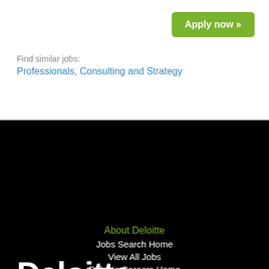Apply now »
Find similar jobs: Professionals, Consulting and Strategy
[Figure (logo): Deloitte logo with white text and green dot]
[Figure (infographic): Social media icons: LinkedIn, Facebook, Twitter, Instagram]
About Deloitte
Jobs Search Home
View All Jobs
Deloitte Careers Home